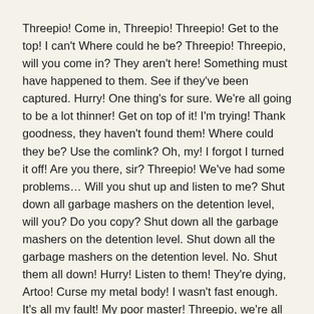Threepio! Come in, Threepio! Threepio! Get to the top! I can't Where could he be? Threepio! Threepio, will you come in? They aren't here! Something must have happened to them. See if they've been captured. Hurry! One thing's for sure. We're all going to be a lot thinner! Get on top of it! I'm trying! Thank goodness, they haven't found them! Where could they be? Use the comlink? Oh, my! I forgot I turned it off! Are you there, sir? Threepio! We've had some problems… Will you shut up and listen to me? Shut down all garbage mashers on the detention level, will you? Do you copy? Shut down all the garbage mashers on the detention level. Shut down all the garbage mashers on the detention level. No. Shut them all down! Hurry! Listen to them! They're dying, Artoo! Curse my metal body! I wasn't fast enough. It's all my fault! My poor master! Threepio, we're all right! We're all right. You did great.
What's wrong? Oh, it's Han! I don't know, I really thought he'd change his mind. He's got to follow his own path. No one can choose it for him. I only wish Ben were here. This R2 unit of your seems a bit beat up. Do you want a new one? Not on your life! That